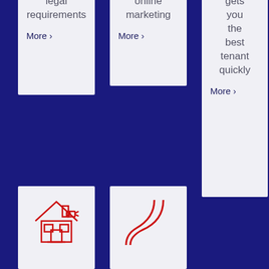and legal requirements
More >
to online marketing
More >
process gets you the best tenant quickly
More >
[Figure (illustration): Red house/building icon]
[Figure (illustration): Red curved line/path icon]